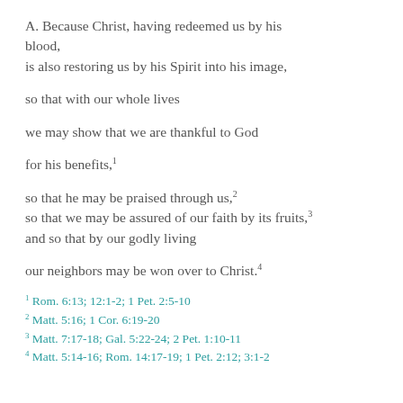A. Because Christ, having redeemed us by his blood,
is also restoring us by his Spirit into his image,

so that with our whole lives

we may show that we are thankful to God

for his benefits,¹

so that he may be praised through us,²
so that we may be assured of our faith by its fruits,³
and so that by our godly living

our neighbors may be won over to Christ.⁴
¹ Rom. 6:13; 12:1-2; 1 Pet. 2:5-10
² Matt. 5:16; 1 Cor. 6:19-20
³ Matt. 7:17-18; Gal. 5:22-24; 2 Pet. 1:10-11
⁴ Matt. 5:14-16; Rom. 14:17-19; 1 Pet. 2:12; 3:1-2